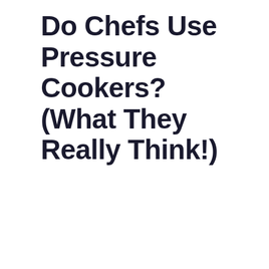Do Chefs Use Pressure Cookers? (What They Really Think!)